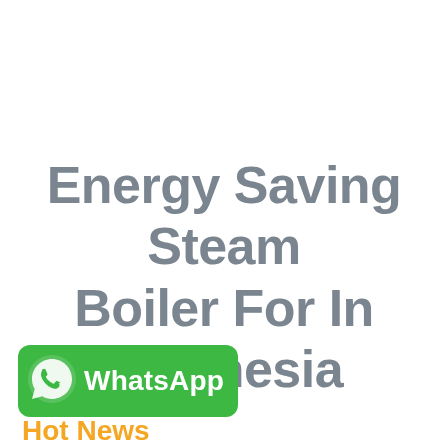Energy Saving Steam Boiler For In Indonesia
[Figure (logo): WhatsApp button with phone icon on green rounded rectangle background and label 'WhatsApp']
Hot News